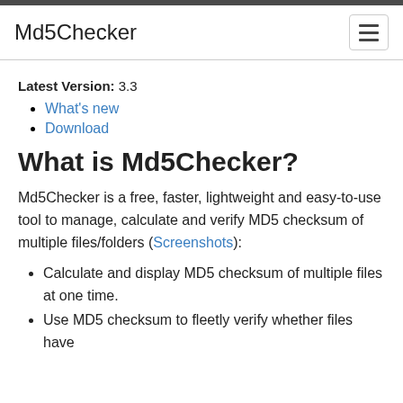Md5Checker
Latest Version: 3.3
What's new
Download
What is Md5Checker?
Md5Checker is a free, faster, lightweight and easy-to-use tool to manage, calculate and verify MD5 checksum of multiple files/folders (Screenshots):
Calculate and display MD5 checksum of multiple files at one time.
Use MD5 checksum to fleetly verify whether files have been changed.